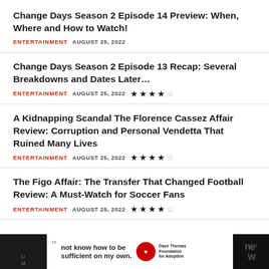Change Days Season 2 Episode 14 Preview: When, Where and How to Watch!
ENTERTAINMENT   AUGUST 25, 2022
Change Days Season 2 Episode 13 Recap: Several Breakdowns and Dates Later…
ENTERTAINMENT   AUGUST 25, 2022  ★★★★☆
A Kidnapping Scandal The Florence Cassez Affair Review: Corruption and Personal Vendetta That Ruined Many Lives
ENTERTAINMENT   AUGUST 25, 2022  ★★★★☆
The Figo Affair: The Transfer That Changed Football Review: A Must-Watch for Soccer Fans
ENTERTAINMENT   AUGUST 25, 2022  ★★★★☆
[Figure (infographic): Advertisement banner at bottom of page featuring Dave Thomas Foundation for Adoption ad with text 'not know how to be sufficient on my own.']